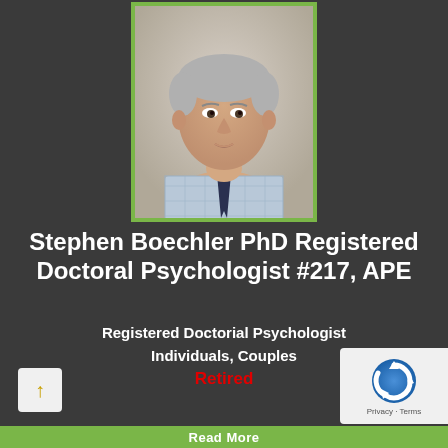[Figure (photo): Professional headshot of Stephen Boechler, a middle-aged man with grey hair wearing a blue checkered shirt and dark tie, against a light grey background. Photo has a green border.]
Stephen Boechler PhD Registered Doctoral Psychologist #217, APE
Registered Doctorial Psychologist
Individuals, Couples
Retired